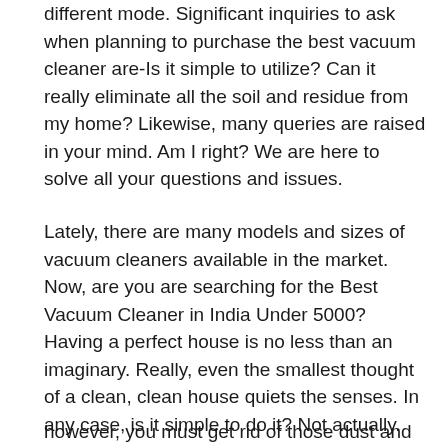different mode. Significant inquiries to ask when planning to purchase the best vacuum cleaner are-Is it simple to utilize? Can it really eliminate all the soil and residue from my home? Likewise, many queries are raised in your mind. Am I right? We are here to solve all your questions and issues.
Lately, there are many models and sizes of vacuum cleaners available in the market. Now, are you are searching for the Best Vacuum Cleaner in India Under 5000? Having a perfect house is no less than an imaginary. Really, even the smallest thought of a clean, clean house quiets the senses. In any case, is it simple to do it? Not actually.
however, you must get rid of those dust and mites